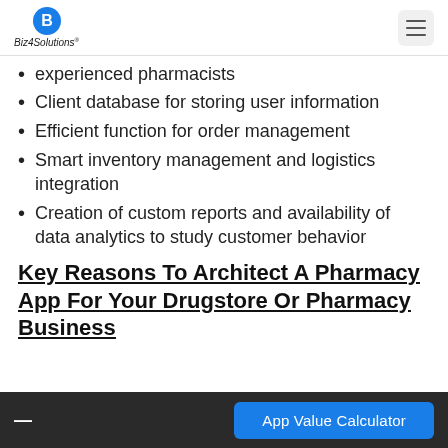Biz4Solutions
experienced pharmacists
Client database for storing user information
Efficient function for order management
Smart inventory management and logistics integration
Creation of custom reports and availability of data analytics to study customer behavior
Key Reasons To Architect A Pharmacy App For Your Drugstore Or Pharmacy Business
App Value Calculator